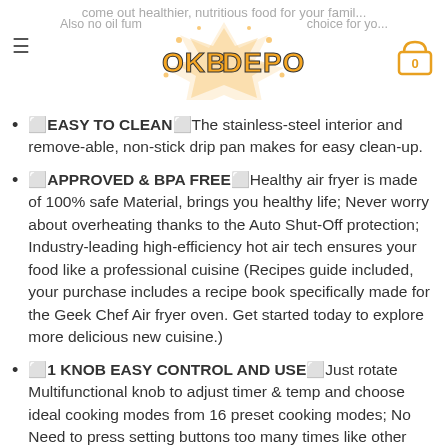OKB DEPOT — navigation header with logo and cart
come out healthier, nutritious food for your family. Also no oil fumes, making it the best choice for you
🔲EASY TO CLEAN🔲The stainless-steel interior and remove-able, non-stick drip pan makes for easy clean-up.
🔲APPROVED & BPA FREE🔲Healthy air fryer is made of 100% safe Material, brings you healthy life; Never worry about overheating thanks to the Auto Shut-Off protection; Industry-leading high-efficiency hot air tech ensures your food like a professional cuisine (Recipes guide included, your purchase includes a recipe book specifically made for the Geek Chef Air fryer oven. Get started today to explore more delicious new cuisine.)
🔲1 KNOB EASY CONTROL AND USE🔲Just rotate Multifunctional knob to adjust timer & temp and choose ideal cooking modes from 16 preset cooking modes; No Need to press setting buttons too many times like other